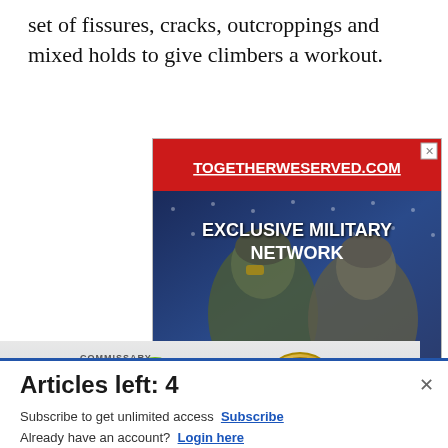set of fissures, cracks, outcroppings and mixed holds to give climbers a workout.
[Figure (screenshot): Advertisement for togetherweserved.com showing two military soldiers in combat gear with text 'TOGETHERWESERVED.COM' in red banner and 'EXCLUSIVE MILITARY NETWORK' overlaid on image]
[Figure (screenshot): Advertisement for Commissary Click2Go showing logo with green circle badge and Commissary seal, with text about ordering groceries for pickup]
Articles left: 4
Subscribe to get unlimited access  Subscribe
Already have an account?  Login here